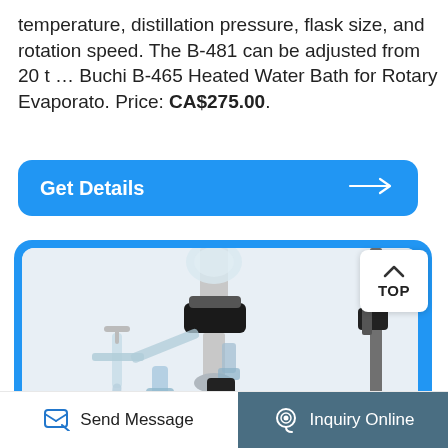temperature, distillation pressure, flask size, and rotation speed. The B-481 can be adjusted from 20 t … Buchi B-465 Heated Water Bath for Rotary Evaporato. Price: CA$275.00.
Get Details →
[Figure (photo): Close-up photo of a rotary evaporator laboratory apparatus showing glass glassware components including a condenser, flask connection with black rotating seal, glass stopcock valve on the left, and metal support stand on the right, against a white background. A 'TOP' badge with upward caret is visible in the upper right corner of the image frame.]
Send Message
Inquiry Online